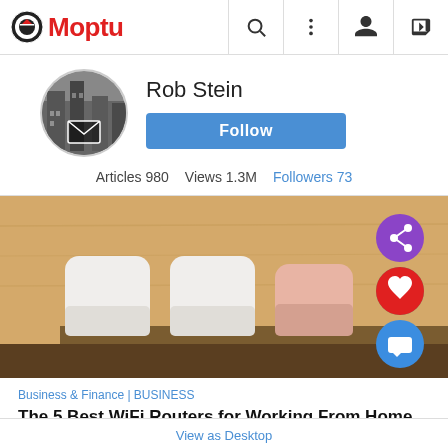Moptu [logo nav bar with search, menu, profile, login icons]
Rob Stein
[Figure (photo): Profile avatar: circular photo of a city street/building scene with an envelope icon overlay]
Follow
Articles 980   Views 1.3M   Followers 73
[Figure (photo): Article thumbnail: photo of three white and one pink Google Nest WiFi router units on a wooden shelf. Overlaid with purple share, red heart, and blue comment action buttons.]
Business & Finance | BUSINESS
The 5 Best WiFi Routers for Working From Home 2020 | Inc.
Boost your internet to handle all of
View as Desktop